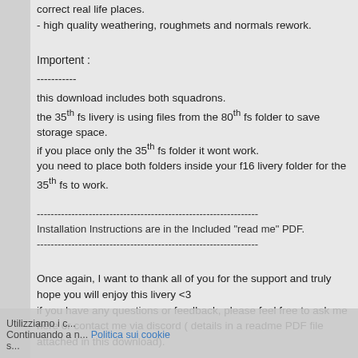correct real life places.
- high quality weathering, roughmets and normals rework.
Importent :
-----------
this download includes both squadrons.
the 35th fs livery is using files from the 80th fs folder to save storage space.
if you place only the 35th fs folder it wont work.
you need to place both folders inside your f16 livery folder for the 35th fs to work.
----------------------------------------------------------------
Installation Instructions are in the Included "read me" PDF.
----------------------------------------------------------------
Once again, I want to thank all of you for the support and truly hope you will enjoy this livery <3
if you have any questions or feedback, please feel free to ask me here or contact me via discord ( details in a readme PDF file attached in this download).